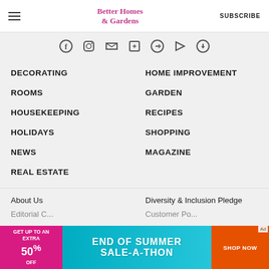Better Homes & Gardens | SUBSCRIBE
DECORATING
HOME IMPROVEMENT
ROOMS
GARDEN
HOUSEKEEPING
RECIPES
HOLIDAYS
SHOPPING
NEWS
MAGAZINE
REAL ESTATE
About Us
Diversity & Inclusion Pledge
[Figure (screenshot): End of Summer Sale-A-Thon advertisement banner: pink left panel 'GET UP TO AN EXTRA 50% OFF', teal/blue center 'END OF SUMMER SALE-A-THON', orange button 'SHOP NOW']